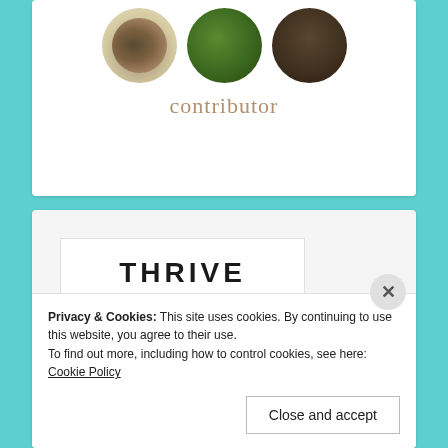[Figure (photo): Three circular photos: a butterfly on a surface, a bird feeder with greenery, and a dark-coated horse or similar animal]
contributor
[Figure (logo): Thrive Market logo with text 'THRIVE MARKET' and tagline 'Wholesome Products.']
Privacy & Cookies: This site uses cookies. By continuing to use this website, you agree to their use.
To find out more, including how to control cookies, see here: Cookie Policy
Close and accept